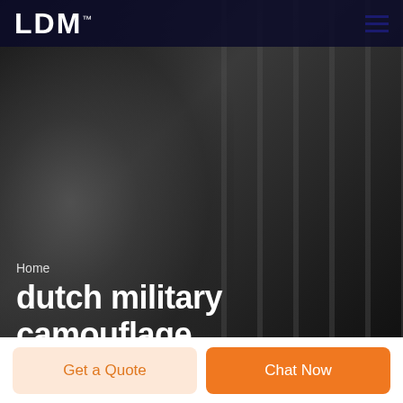LDM
[Figure (photo): Grayscale background photo of a smiling man in a suit with vertical rod/rebar structures in the background, serving as a hero image for a website about dutch military camouflage.]
Home
dutch military camouflage
Get a Quote
Chat Now